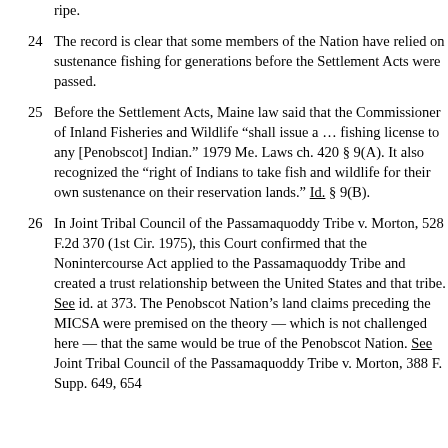ripe.
24 The record is clear that some members of the Nation have relied on sustenance fishing for generations before the Settlement Acts were passed.
25 Before the Settlement Acts, Maine law said that the Commissioner of Inland Fisheries and Wildlife “shall issue a … fishing license to any [Penobscot] Indian.” 1979 Me. Laws ch. 420 § 9(A). It also recognized the “right of Indians to take fish and wildlife for their own sustenance on their reservation lands.” Id. § 9(B).
26 In Joint Tribal Council of the Passamaquoddy Tribe v. Morton, 528 F.2d 370 (1st Cir. 1975), this Court confirmed that the Nonintercourse Act applied to the Passamaquoddy Tribe and created a trust relationship between the United States and that tribe. See id. at 373. The Penobscot Nation’s land claims preceding the MICSA were premised on the theory –– which is not challenged here –– that the same would be true of the Penobscot Nation. See Joint Tribal Council of the Passamaquoddy Tribe v. Morton, 388 F. Supp. 649, 654